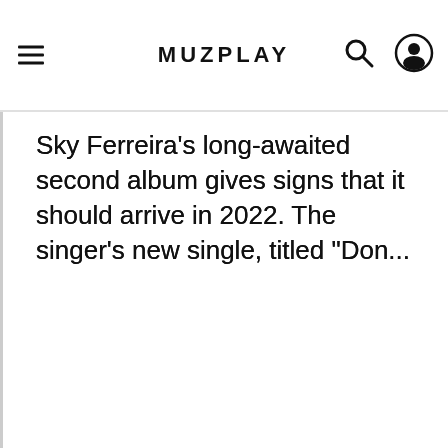MUZPLAY
Sky Ferreira's long-awaited second album gives signs that it should arrive in 2022. The singer's new single, titled "Don...